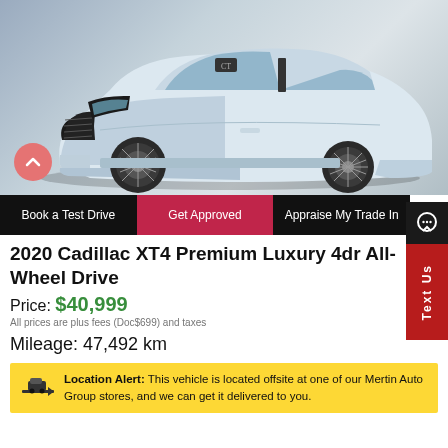[Figure (photo): Front 3/4 view of a white/silver 2020 Cadillac XT4 SUV on a grey background]
Book a Test Drive
Get Approved
Appraise My Trade In
2020 Cadillac XT4 Premium Luxury 4dr All-Wheel Drive
Price: $40,999
All prices are plus fees (Doc$699) and taxes
Mileage: 47,492 km
Location Alert: This vehicle is located offsite at one of our Mertin Auto Group stores, and we can get it delivered to you.